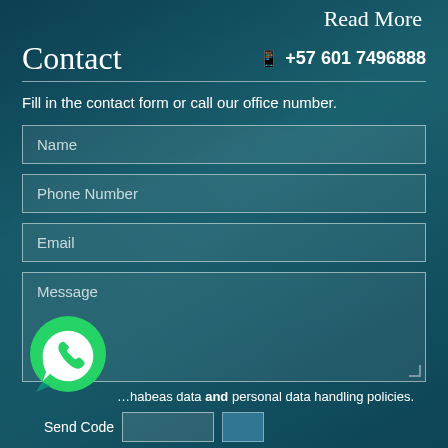Read More
Contact
+57 601 7496888
Fill in the contact form or call our office number.
Name
Phone Number
Email
Message
[Figure (logo): WhatsApp circular green button icon]
habeas data and personal data handling policies.
Send Code